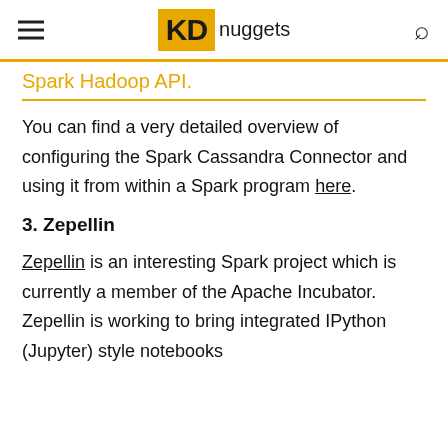KD nuggets
Spark Hadoop API.
You can find a very detailed overview of configuring the Spark Cassandra Connector and using it from within a Spark program here.
3. Zepellin
Zepellin is an interesting Spark project which is currently a member of the Apache Incubator. Zepellin is working to bring integrated IPython (Jupyter) style notebooks